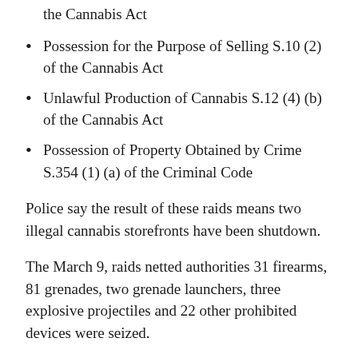the Cannabis Act
Possession for the Purpose of Selling S.10 (2) of the Cannabis Act
Unlawful Production of Cannabis S.12 (4) (b) of the Cannabis Act
Possession of Property Obtained by Crime S.354 (1) (a) of the Criminal Code
Police say the result of these raids means two illegal cannabis storefronts have been shutdown.
The March 9, raids netted authorities 31 firearms, 81 grenades, two grenade launchers, three explosive projectiles and 22 other prohibited devices were seized.
In addition, drugs including cocaine, cannabis, hash, psilocybin and MDMA were seized, along with nearly $130,000 in Canadian and US currency and eight vehicles.
Police say four separate criminal networks were identified